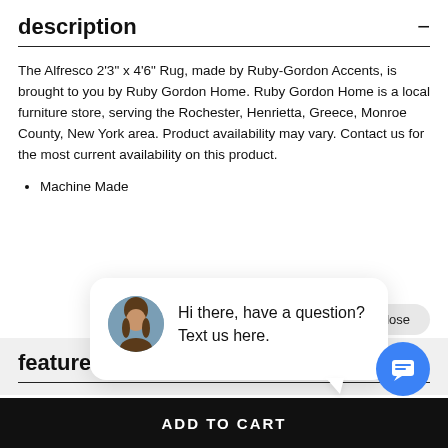description
The Alfresco 2'3" x 4'6" Rug, made by Ruby-Gordon Accents, is brought to you by Ruby Gordon Home. Ruby Gordon Home is a local furniture store, serving the Rochester, Henrietta, Greece, Monroe County, New York area. Product availability may vary. Contact us for the most current availability on this product.
Machine Made
close
features
[Figure (screenshot): Chat popup with avatar photo of a woman and text: Hi there, have a question? Text us here.]
[Figure (infographic): Blue circular chat FAB button with message icon]
ADD TO CART